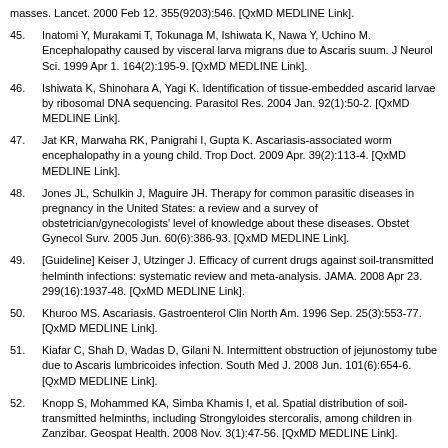masses. Lancet. 2000 Feb 12. 355(9203):546. [QxMD MEDLINE Link].
45. Inatomi Y, Murakami T, Tokunaga M, Ishiwata K, Nawa Y, Uchino M. Encephalopathy caused by visceral larva migrans due to Ascaris suum. J Neurol Sci. 1999 Apr 1. 164(2):195-9. [QxMD MEDLINE Link].
46. Ishiwata K, Shinohara A, Yagi K. Identification of tissue-embedded ascarid larvae by ribosomal DNA sequencing. Parasitol Res. 2004 Jan. 92(1):50-2. [QxMD MEDLINE Link].
47. Jat KR, Marwaha RK, Panigrahi I, Gupta K. Ascariasis-associated worm encephalopathy in a young child. Trop Doct. 2009 Apr. 39(2):113-4. [QxMD MEDLINE Link].
48. Jones JL, Schulkin J, Maguire JH. Therapy for common parasitic diseases in pregnancy in the United States: a review and a survey of obstetrician/gynecologists' level of knowledge about these diseases. Obstet Gynecol Surv. 2005 Jun. 60(6):386-93. [QxMD MEDLINE Link].
49. [Guideline] Keiser J, Utzinger J. Efficacy of current drugs against soil-transmitted helminth infections: systematic review and meta-analysis. JAMA. 2008 Apr 23. 299(16):1937-48. [QxMD MEDLINE Link].
50. Khuroo MS. Ascariasis. Gastroenterol Clin North Am. 1996 Sep. 25(3):553-77. [QxMD MEDLINE Link].
51. Kiafar C, Shah D, Wadas D, Gilani N. Intermittent obstruction of jejunostomy tube due to Ascaris lumbricoides infection. South Med J. 2008 Jun. 101(6):654-6. [QxMD MEDLINE Link].
52. Knopp S, Mohammed KA, Simba Khamis I, et al. Spatial distribution of soil-transmitted helminths, including Strongyloides stercoralis, among children in Zanzibar. Geospat Health. 2008 Nov. 3(1):47-56. [QxMD MEDLINE Link].